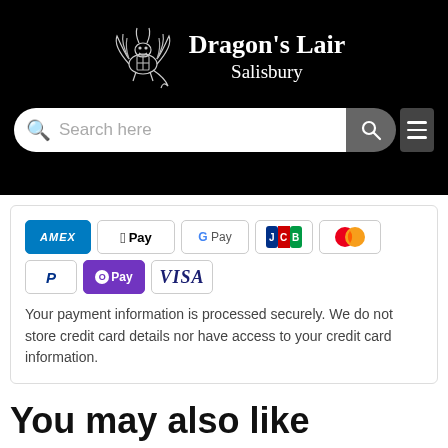Dragon's Lair Salisbury
[Figure (logo): Dragon's Lair Salisbury logo with a dragon holding a shield, white on black background]
[Figure (screenshot): Search bar with search icon and placeholder text 'Search here']
[Figure (infographic): Payment icons row: AMEX, Apple Pay, Google Pay, JCB, Mastercard, PayPal, O Pay, VISA]
Your payment information is processed securely. We do not store credit card details nor have access to your credit card information.
You may also like